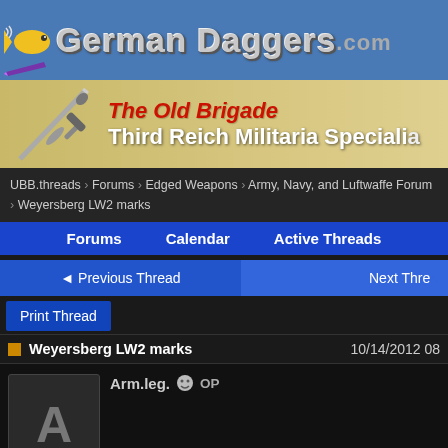German Daggers.com
[Figure (screenshot): The Old Brigade - Third Reich Militaria Specialist advertisement banner with sword image]
UBB.threads > Forums > Edged Weapons > Army, Navy, and Luftwaffe Forum > Weyersberg LW2 marks
Forums  Calendar  Active Threads
< Previous Thread   Next Thread
Print Thread
Weyersberg LW2 marks   10/14/2012 08
Arm.leg.  OP
Hello everyone !
I see this logo on one LW dagger. Is correct or fake ?
Regards Anton
Regards Anton